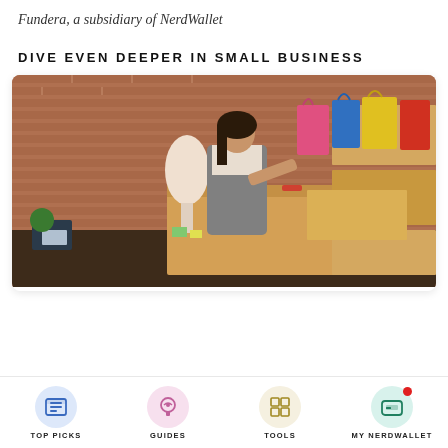Fundera, a subsidiary of NerdWallet
DIVE EVEN DEEPER IN SMALL BUSINESS
[Figure (photo): Woman in apron cutting tape on a cardboard box at a desk with a dress form mannequin, colorful shopping bags, and stacked cardboard boxes against a brick wall background — small business owner packing orders.]
TOP PICKS   GUIDES   TOOLS   MY NERDWALLET